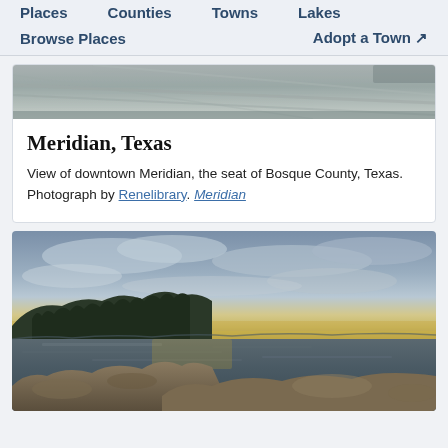Places  Counties  Towns  Lakes  Browse Places  Adopt a Town
[Figure (photo): Partial view of a road/highway, aerial or ground-level shot, gray tones]
Meridian, Texas
View of downtown Meridian, the seat of Bosque County, Texas. Photograph by Renelibrary. Meridian
[Figure (photo): Lakeside sunset photo with trees on rocky shore, cloudy sky with yellow/golden light on horizon, calm lake water]